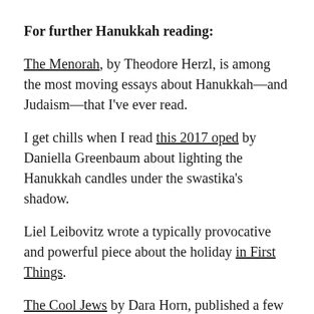For further Hanukkah reading:
The Menorah, by Theodore Herzl, is among the most moving essays about Hanukkah—and Judaism—that I've ever read.
I get chills when I read this 2017 oped by Daniella Greenbaum about lighting the Hanukkah candles under the swastika's shadow.
Liel Leibovitz wrote a typically provocative and powerful piece about the holiday in First Things.
The Cool Jews by Dara Horn, published a few years ago in Tablet, is about the ancient (and tragic) Jewish desire to fit in.